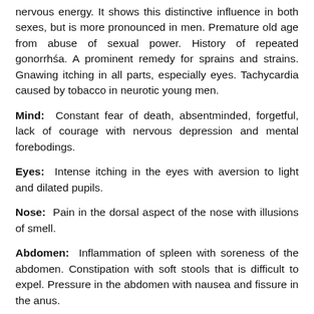nervous energy. It shows this distinctive influence in both sexes, but is more pronounced in men. Premature old age from abuse of sexual power. History of repeated gonorrhśa. A prominent remedy for sprains and strains. Gnawing itching in all parts, especially eyes. Tachycardia caused by tobacco in neurotic young men.
Mind: Constant fear of death, absentminded, forgetful, lack of courage with nervous depression and mental forebodings.
Eyes: Intense itching in the eyes with aversion to light and dilated pupils.
Nose: Pain in the dorsal aspect of the nose with illusions of smell.
Abdomen: Inflammation of spleen with soreness of the abdomen. Constipation with soft stools that is difficult to expel. Pressure in the abdomen with nausea and fissure in the anus.